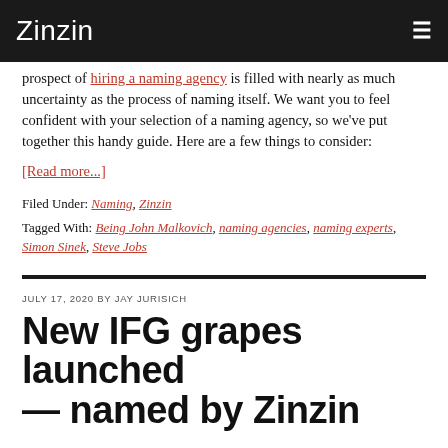Zinzin ☰
prospect of hiring a naming agency is filled with nearly as much uncertainty as the process of naming itself. We want you to feel confident with your selection of a naming agency, so we've put together this handy guide. Here are a few things to consider:
[Read more...]
Filed Under: Naming, Zinzin
Tagged With: Being John Malkovich, naming agencies, naming experts, Simon Sinek, Steve Jobs
New IFG grapes launched — named by Zinzin
JULY 17, 2020 BY JAY JURISICH